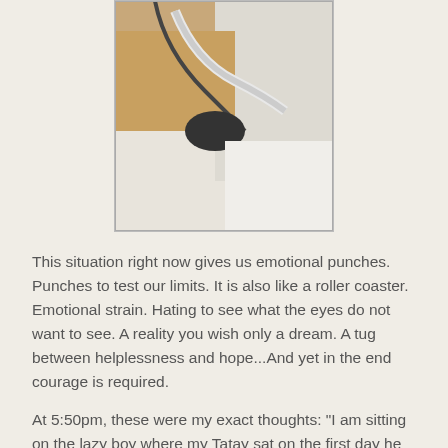[Figure (photo): A medical photo showing a patient (likely a newborn or elderly person) in a hospital setting with ventilator tubes and medical equipment visible, covered in white cloth.]
This situation right now gives us emotional punches. Punches to test our limits. It is also like a roller coaster. Emotional strain. Hating to see what the eyes do not want to see. A reality you wish only a dream. A tug between helplessness and hope...And yet in the end courage is required.
At 5:50pm, these were my exact thoughts: "I am sitting on the lazy boy where my Tatay sat on the first day he was